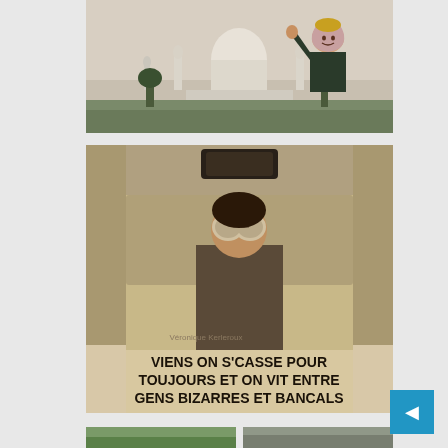[Figure (photo): Woman wearing pink hijab and dark jacket standing in front of the Taj Mahal with one arm raised]
[Figure (photo): Vintage sepia-toned photo of a woman with large round sunglasses sitting in a van/vehicle cab. Text on the vehicle reads: VIENS ON S'CASSE POUR TOUJOURS ET ON VIT ENTRE GENS BIZARRES ET BANCALS]
[Figure (photo): Partial view of two outdoor/nature photos at the bottom of the page, partially cropped]